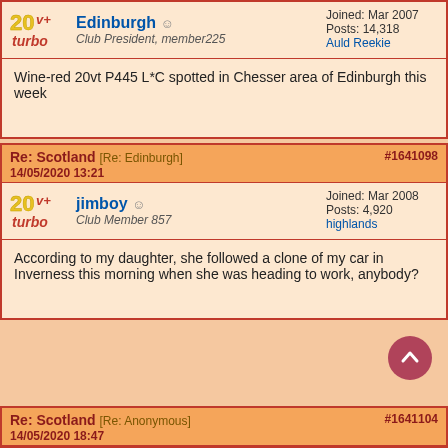Edinburgh — Club President, member225 — Joined: Mar 2007, Posts: 14,318, Auld Reekie
Wine-red 20vt P445 L*C spotted in Chesser area of Edinburgh this week
Re: Scotland [Re: Edinburgh] #1641098 14/05/2020 13:21
jimboy — Club Member 857 — Joined: Mar 2008, Posts: 4,920, highlands
According to my daughter, she followed a clone of my car in Inverness this morning when she was heading to work, anybody?
Re: Scotland [Re: Anonymous] #1641104 14/05/2020 18:47